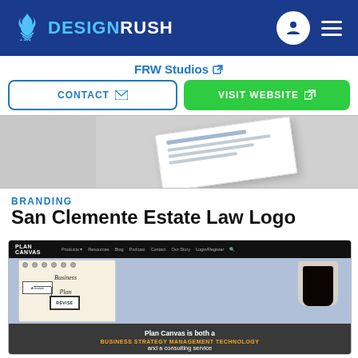DESIGNRUSH
FRW Studios
CONTACT
VISIT WEBSITE
[Figure (photo): Business card portfolio image on grey background]
BRANDING
San Clemente Estate Law Logo
[Figure (screenshot): Plan Canvas website screenshot showing business plan notebook with coffee cup, overlay text: Plan Canvas is both a BUSINESS STRATEGY MANAGEMENT TECHNOLOGY and a consulting service]